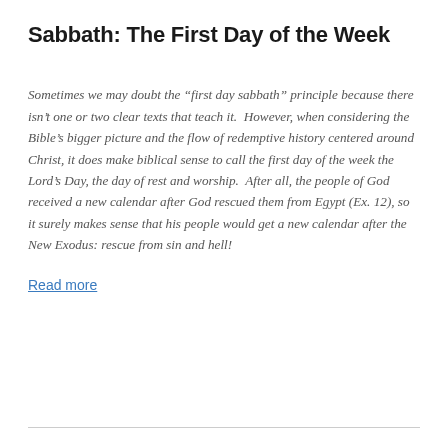Sabbath: The First Day of the Week
Sometimes we may doubt the “first day sabbath” principle because there isn’t one or two clear texts that teach it.  However, when considering the Bible’s bigger picture and the flow of redemptive history centered around Christ, it does make biblical sense to call the first day of the week the Lord’s Day, the day of rest and worship.  After all, the people of God received a new calendar after God rescued them from Egypt (Ex. 12), so it surely makes sense that his people would get a new calendar after the New Exodus: rescue from sin and hell!
Read more